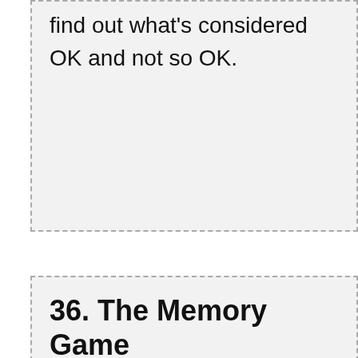find out what's considered OK and not so OK.
36. The Memory Game
For this game, select a room in the house. Have each guest enter that room and allow them to inspect the room for one